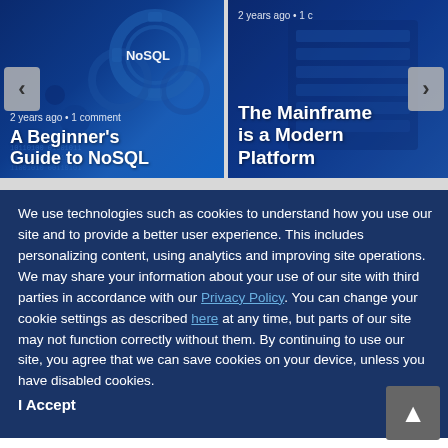[Figure (screenshot): Carousel card showing 'A Beginner's Guide to NoSQL' with blue gear/technology background, navigation arrows, meta text '2 years ago • 1 comment']
[Figure (screenshot): Carousel card (partially visible) showing 'The Mainframe is a Modern Platform' with dark blue technology background, meta text '2 years ago • 1 c...']
We use technologies such as cookies to understand how you use our site and to provide a better user experience. This includes personalizing content, using analytics and improving site operations. We may share your information about your use of our site with third parties in accordance with our Privacy Policy. You can change your cookie settings as described here at any time, but parts of our site may not function correctly without them. By continuing to use our site, you agree that we can save cookies on your device, unless you have disabled cookies.
I Accept